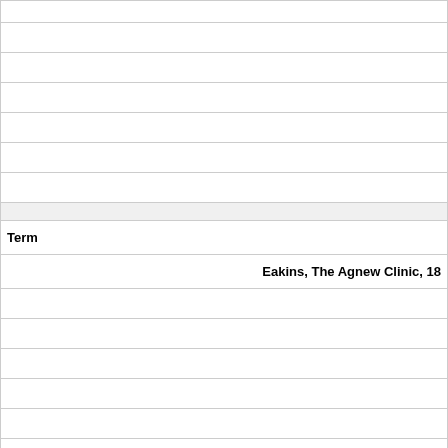|  |  |
|  |  |
|  |  |
|  |  |
|  |  |
|  |  |
|  |  |
|  |  |
| SHADED HEADER ROW |  |
| Term |  |
|  | Eakins, The Agnew Clinic, 18... |
|  |  |
|  |  |
|  |  |
|  |  |
|  |  |
|  |  |
|  |  |
|  |  |
| Definition |  |
|  | [image] |